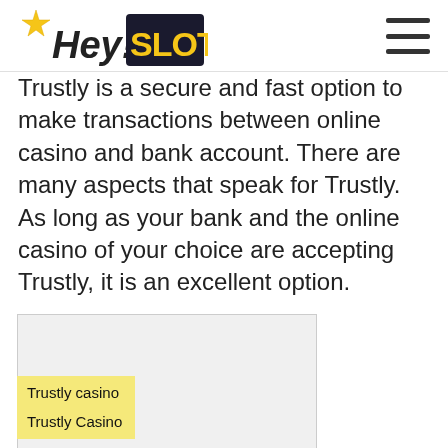Hey!Slots
Trustly is a secure and fast option to make transactions between online casino and bank account. There are many aspects that speak for Trustly. As long as your bank and the online casino of your choice are accepting Trustly, it is an excellent option.
[Figure (other): Blank/placeholder image box]
Trustly casino

Trustly Casino